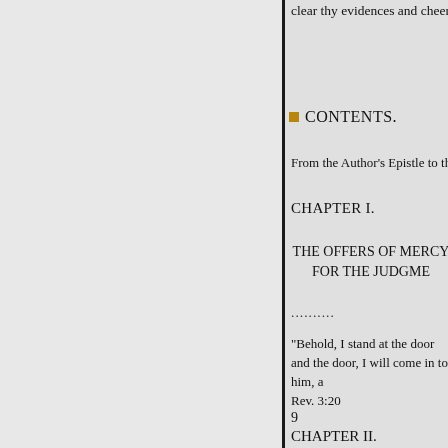clear thy evidences and cheer thy
CONTENTS.
From the Author's Epistle to the
CHAPTER I.
THE OFFERS OF MERCY FOR THE JUDGME
..........
"Behold, I stand at the door and the door, I will come in to him, a Rev. 3:20
9
CHAPTER II.
THE PRESENCE OF CHRIST